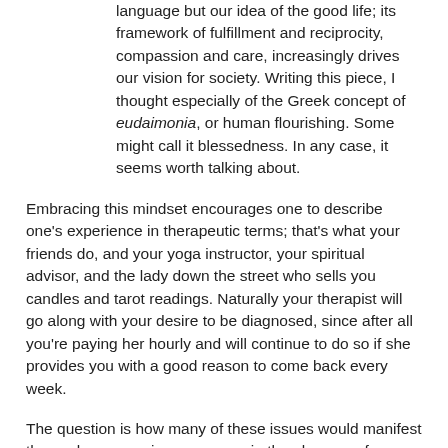language but our idea of the good life; its framework of fulfillment and reciprocity, compassion and care, increasingly drives our vision for society. Writing this piece, I thought especially of the Greek concept of eudaimonia, or human flourishing. Some might call it blessedness. In any case, it seems worth talking about.
Embracing this mindset encourages one to describe one's experience in therapeutic terms; that's what your friends do, and your yoga instructor, your spiritual advisor, and the lady down the street who sells you candles and tarot readings. Naturally your therapist will go along with your desire to be diagnosed, since after all you're paying her hourly and will continue to do so if she provides you with a good reason to come back every week.
The question is how many of these issues would manifest themselves as serious concerns in the absence of so much therapy and so much focus on 'trauma' and 'healing' and all that. I suppose the more serious mental health issues are mostly genetic or otherwise biological in nature, and